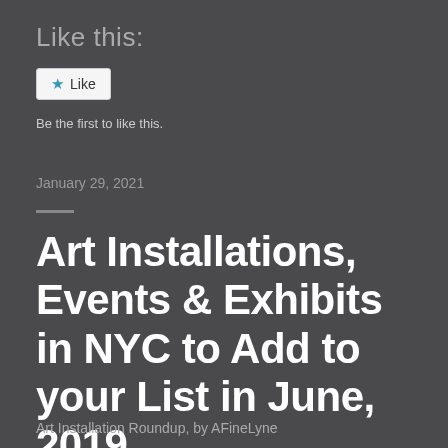Like this:
[Figure (other): Like button widget with star icon and 'Like' label]
Be the first to like this.
January 29, 2021
Art Installations, Events & Exhibits in NYC to Add to your List in June, 2019
Art Installation Roundup, by AFineLyne